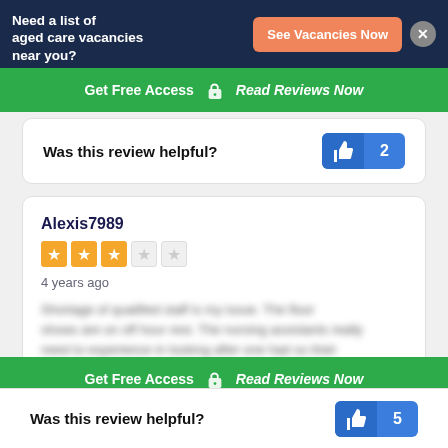Need a list of aged care vacancies near you? | See Vacancies Now
Get Free Access  🔓  Read Reviews Now
Was this review helpful? [👍 2]
Alexis7989
★★★☆☆
4 years ago
[blurred review text]
Get Free Access  🔓  Read Reviews Now
Was this review helpful? [👍 5]